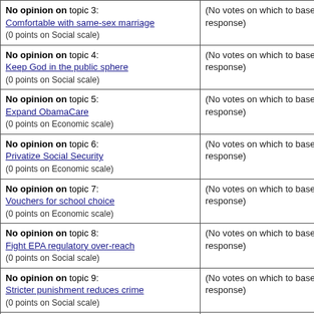| Topic | Votes |
| --- | --- |
| No opinion on topic 3: Comfortable with same-sex marriage (0 points on Social scale) | (No votes on which to base response) |
| No opinion on topic 4: Keep God in the public sphere (0 points on Social scale) | (No votes on which to base response) |
| No opinion on topic 5: Expand ObamaCare (0 points on Economic scale) | (No votes on which to base response) |
| No opinion on topic 6: Privatize Social Security (0 points on Economic scale) | (No votes on which to base response) |
| No opinion on topic 7: Vouchers for school choice (0 points on Economic scale) | (No votes on which to base response) |
| No opinion on topic 8: Fight EPA regulatory over-reach (0 points on Social scale) | (No votes on which to base response) |
| No opinion on topic 9: Stricter punishment reduces crime (0 points on Social scale) | (No votes on which to base response) |
| No opinion on topic 10: Absolute right to gun ownership (0 points on Economic scale) | (No votes on which to base response) |
| No opinion on topic 11: Higher taxes on the wealthy | (No votes on which to base response) |